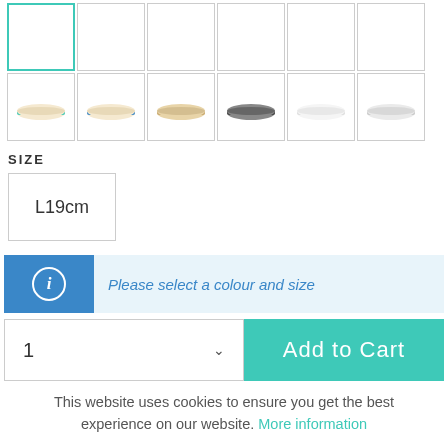[Figure (screenshot): Top row of product color thumbnails - first cell selected with teal border, remaining cells empty]
[Figure (screenshot): Second row of product color thumbnails showing 6 bowls: teal-blue trim, blue trim, tan/beige, black/dark, white/light, light gray]
SIZE
L19cm
Please select a colour and size
1
Add to Cart
This website uses cookies to ensure you get the best experience on our website. More information
Accept